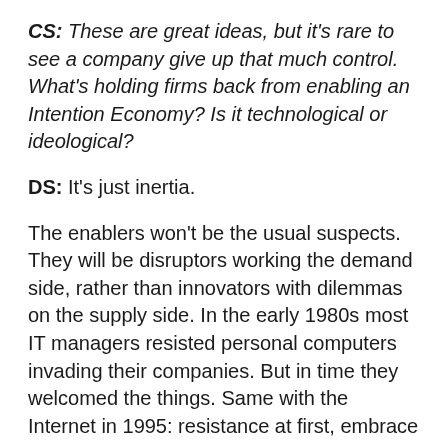CS: These are great ideas, but it's rare to see a company give up that much control. What's holding firms back from enabling an Intention Economy? Is it technological or ideological?
DS: It's just inertia.
The enablers won't be the usual suspects. They will be disruptors working the demand side, rather than innovators with dilemmas on the supply side. In the early 1980s most IT managers resisted personal computers invading their companies. But in time they welcomed the things. Same with the Internet in 1995: resistance at first, embrace